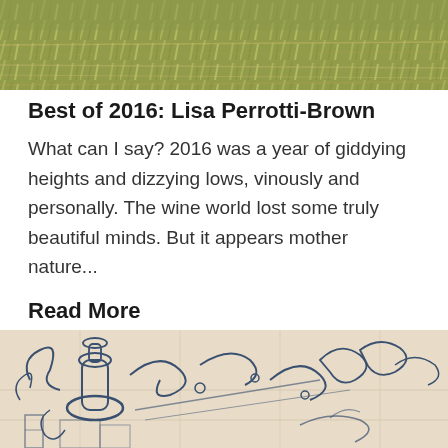[Figure (photo): Top portion of a photo showing grass or hay field texture, cropped at top]
Best of 2016: Lisa Perrotti-Brown
What can I say? 2016 was a year of giddying heights and dizzying lows, vinously and personally. The wine world lost some truly beautiful minds. But it appears mother nature...
Read More
Lisa Perrotti-Brown • 05 Jan 2017
wine
bestof2016
WineAdvocate
[Figure (photo): Bottom portion of an ornate blue and white tile mural featuring baroque decorative elements including a vase, scrollwork, and foliage]